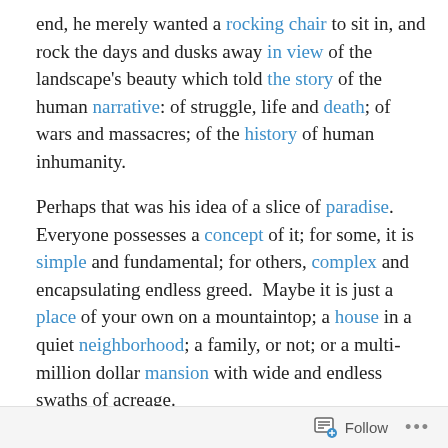end, he merely wanted a rocking chair to sit in, and rock the days and dusks away in view of the landscape's beauty which told the story of the human narrative: of struggle, life and death; of wars and massacres; of the history of human inhumanity.
Perhaps that was his idea of a slice of paradise. Everyone possesses a concept of it; for some, it is simple and fundamental; for others, complex and encapsulating endless greed. Maybe it is just a place of your own on a mountaintop; a house in a quiet neighborhood; a family, or not; or a multi-million dollar mansion with wide and endless swaths of acreage.
Whatever constitutes one's idea of a slice of paradise, that
Follow ···